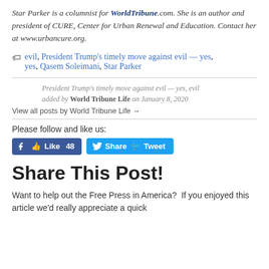Star Parker is a columnist for WorldTribune.com. She is an author and president of CURE, Center for Urban Renewal and Education. Contact her at www.urbancure.org.
evil, President Trump's timely move against evil — yes, Qasem Soleimani, Star Parker
President Trump's timely move against evil — yes, evil added by World Tribune Life on January 8, 2020
View all posts by World Tribune Life →
Please follow and like us:
[Figure (other): Facebook Like button showing 48 likes and Twitter Tweet button]
Share This Post!
Want to help out the Free Press in America?  If you enjoyed this article we'd really appreciate a quick